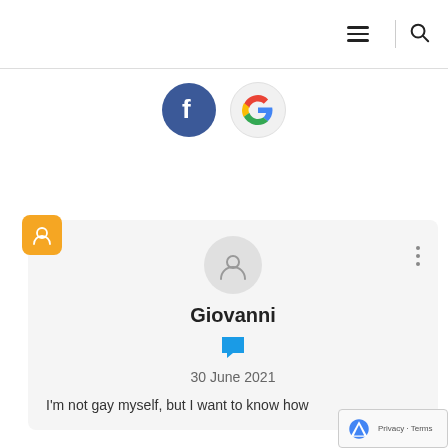☰ | 🔍
[Figure (logo): Facebook and Google login icons]
Login on website
[Figure (screenshot): Comment card by Giovanni dated 30 June 2021 with avatar and chat bubble icon]
I'm not gay myself, but I want to know how to understand SSA Christian stance...